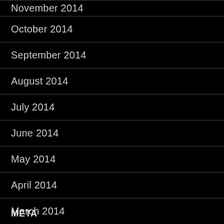November 2014
October 2014
September 2014
August 2014
July 2014
June 2014
May 2014
April 2014
March 2014
February 2014
META